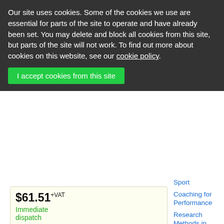Our site uses cookies. Some of the cookies we use are essential for parts of the site to operate and have already been set. You may delete and block all cookies from this site, but parts of the site will not work. To find out more about cookies on this website, see our cookie policy.
I accept cookies from this site
$61.51+VAT
Immediate dispatch
Preview
Add
Sport
Coaching for Performance
Research Methods in Sport
Sports Event Organisation
Research Project in Sport
Self-Employment in the Sports Industry
Instructing Gym-based Exercise
Exercise and Circuit-based Physical Activity
Development and Provision of Sport and Physical Activity
Keyword Activities for BTEC L3 Sport Unit 16: Sport...